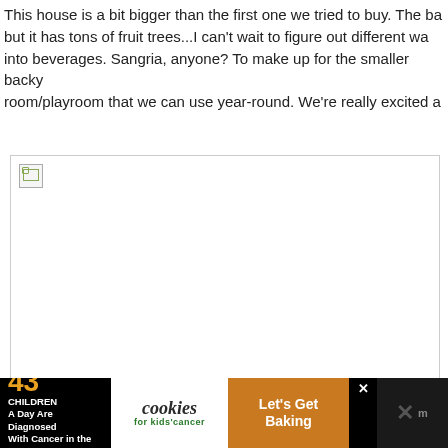This house is a bit bigger than the first one we tried to buy. The ba... but it has tons of fruit trees...I can't wait to figure out different wa... into beverages. Sangria, anyone? To make up for the smaller backy... room/playroom that we can use year-round. We're really excited a...
[Figure (photo): Broken/unloaded image placeholder with small broken image icon in top-left corner]
[Figure (infographic): Advertisement banner: '43 CHILDREN A Day Are Diagnosed With Cancer in the U.S.' with cookies for kids cancer logo and 'Let's Get Baking' call to action]